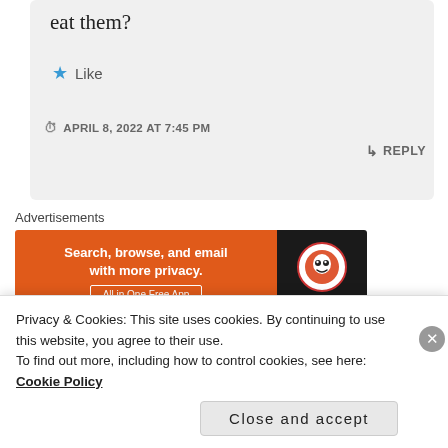eat them?
★ Like
APRIL 8, 2022 AT 7:45 PM
↳ REPLY
Advertisements
[Figure (screenshot): DuckDuckGo advertisement banner: orange left panel with text 'Search, browse, and email with more privacy. All in One Free App', and dark right panel with DuckDuckGo logo]
REPORT THIS AD
[Figure (photo): Partial avatar/profile photo of a person]
Privacy & Cookies: This site uses cookies. By continuing to use this website, you agree to their use.
To find out more, including how to control cookies, see here: Cookie Policy
Close and accept